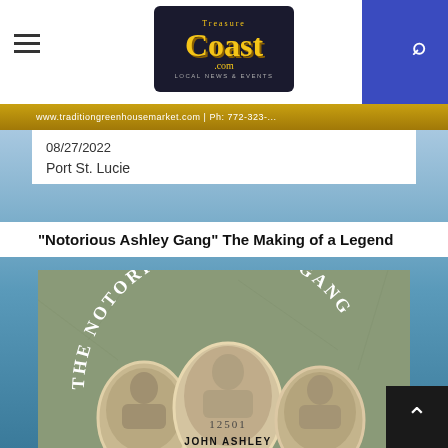Treasure Coast Local News & Events
www.traditiongreenhousemarket.com | Ph: 772-323-...
08/27/2022
Port St. Lucie
"Notorious Ashley Gang" The Making of a Legend
[Figure (photo): Book cover for 'The Notorious Ashley Gang' showing three oval portrait photographs of gang members including John Ashley (prisoner number 12501) in the center, with the title text arced at the top on a muted green-grey background]